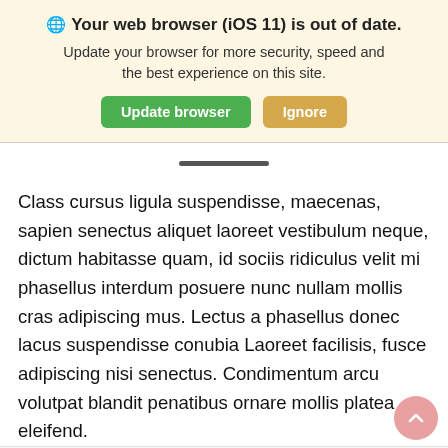🌐 Your web browser (iOS 11) is out of date. Update your browser for more security, speed and the best experience on this site. [Update browser] [Ignore]
Class cursus ligula suspendisse, maecenas, sapien senectus aliquet laoreet vestibulum neque, dictum habitasse quam, id sociis ridiculus velit mi phasellus interdum posuere nunc nullam mollis cras adipiscing mus. Lectus a phasellus donec lacus suspendisse conubia Laoreet facilisis, fusce adipiscing nisi senectus. Condimentum arcu volutpat blandit penatibus ornare mollis platea eleifend.